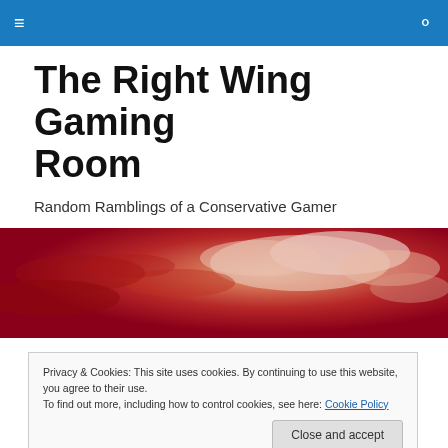≡  🔍
The Right Wing Gaming Room
Random Ramblings of a Conservative Gamer
[Figure (photo): Red and white dramatic cloudy sky banner image]
Privacy & Cookies: This site uses cookies. By continuing to use this website, you agree to their use.
To find out more, including how to control cookies, see here: Cookie Policy

[Close and accept]